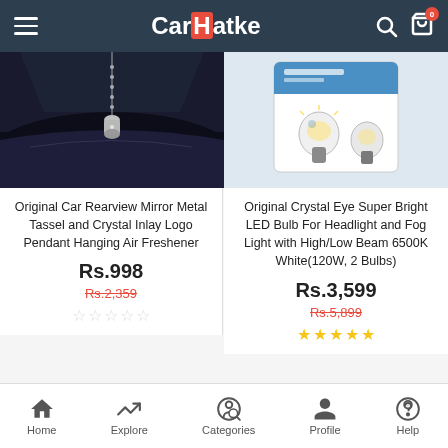CarHatke – navigation header with hamburger menu, search icon, and cart icon showing 0 items
[Figure (photo): Car interior photo showing a metal tassel/crystal pendant hanging from rearview mirror]
Original Car Rearview Mirror Metal Tassel and Crystal Inlay Logo Pendant Hanging Air Freshener
Rs.998
Rs.2,359
[Figure (photo): Product packaging image for LED bulb set on light blue background]
Original Crystal Eye Super Bright LED Bulb For Headlight and Fog Light with High/Low Beam 6500K White(120W, 2 Bulbs)
Rs.3,599
Rs.5,899
Home | Explore | Categories | Profile | Help – bottom navigation bar